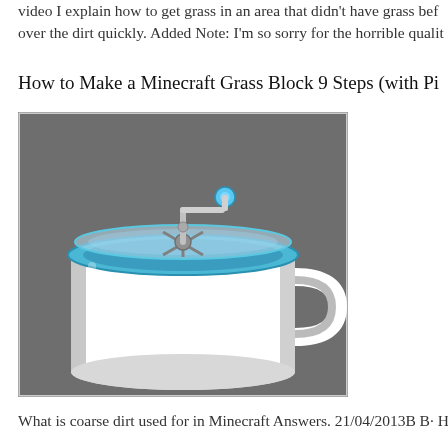video I explain how to get grass in an area that didn't have grass bef over the dirt quickly. Added Note: I'm so sorry for the horrible qualit
How to Make a Minecraft Grass Block 9 Steps (with Pi
[Figure (photo): A white plastic mug/cup with a blue-rimmed transparent lid and a white hand-crank mechanism on top, sitting on a gray surface. The device appears to be a manual flour sifter or similar kitchen tool with a handle on the side.]
What is coarse dirt used for in Minecraft Answers. 21/04/2013B B· H